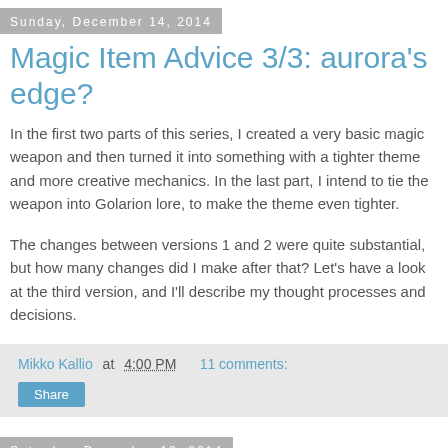Sunday, December 14, 2014
Magic Item Advice 3/3: aurora's edge?
In the first two parts of this series, I created a very basic magic weapon and then turned it into something with a tighter theme and more creative mechanics. In the last part, I intend to tie the weapon into Golarion lore, to make the theme even tighter.
The changes between versions 1 and 2 were quite substantial, but how many changes did I make after that? Let's have a look at the third version, and I'll describe my thought processes and decisions.
Mikko Kallio at 4:00 PM    11 comments:
Share
Saturday, December 13, 2014
Magic Item Advice 2/3: first draft...